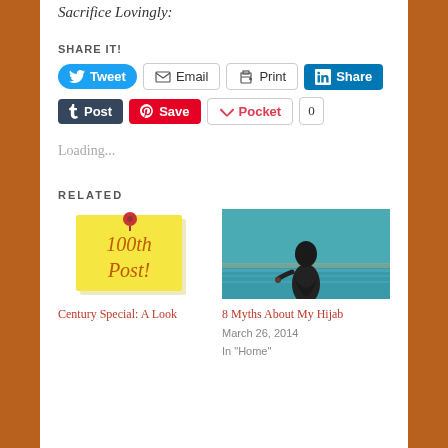Sacrifice Lovingly:
SHARE IT!
[Figure (screenshot): Social share buttons: Tweet (Twitter blue), Email (outlined), Print (outlined), Share (LinkedIn blue), Post (Tumblr dark), Save (Pinterest red), Pocket (heart icon), 0 count button]
Loading...
RELATED
[Figure (illustration): Yellow sticky note with red pin showing '100th Post!' text in orange handwriting style]
[Figure (photo): Woman in black hijab and abaya standing at a waterfront with teal/blue water in the background]
Century Special: A Look
8 Myths About My Hijab
March 26, 2014
In "Home"